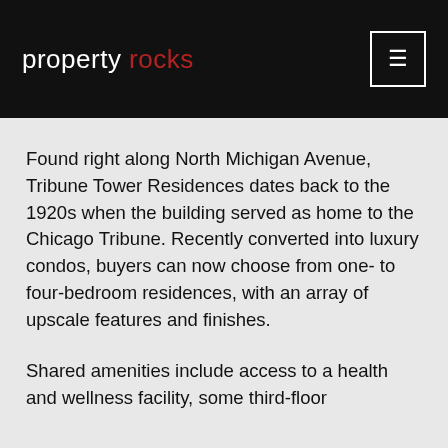property rocks
Found right along North Michigan Avenue, Tribune Tower Residences dates back to the 1920s when the building served as home to the Chicago Tribune. Recently converted into luxury condos, buyers can now choose from one- to four-bedroom residences, with an array of upscale features and finishes.
Shared amenities include access to a health and wellness facility, some third-floor